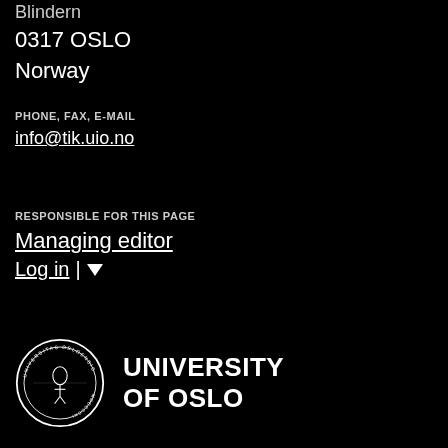Blindern
0317 OSLO
Norway
PHONE, FAX, E-MAIL
info@tik.uio.no
RESPONSIBLE FOR THIS PAGE
Managing editor
Log in | ▾
[Figure (logo): University of Oslo seal logo with text UNIVERSITY OF OSLO]